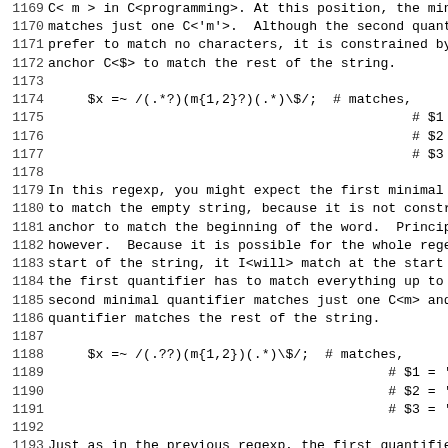1169 C< m > in C<programming>. At this position, the minima
1170 matches just one C<'m'>.  Although the second quantifie
1171 prefer to match no characters, it is constrained by the
1172 anchor C<$> to match the rest of the string.
1173
1175                                              # $1 = 'The progra'
1176                                              # $2 = 'm'
1177                                              # $3 = 'ming republic
1178
1179 In this regexp, you might expect the first minimal quan
1180 to match the empty string, because it is not constraine
1181 anchor to match the beginning of the word.  Principle 0
1182 however.  Because it is possible for the whole regexp t
1183 start of the string, it I<will> match at the start of t
1184 the first quantifier has to match everything up to the
1185 second minimal quantifier matches just one C<m> and the
1186 quantifier matches the rest of the string.
1187
1189                                           # $1 = 'a'
1190                                           # $2 = 'mm'
1191                                           # $3 = 'ing republic d
1192
1193 Just as in the previous regexp, the first quantifier C<
1194 earliest at position C<'a'>, so it does.  The second qu
1195 greedy, so it matches C<mm>, and the third matches the
1196 string.
1197
1198 We can modify principle 3 above to take into account no
1199 quantifiers:
1200
1201 -over 4